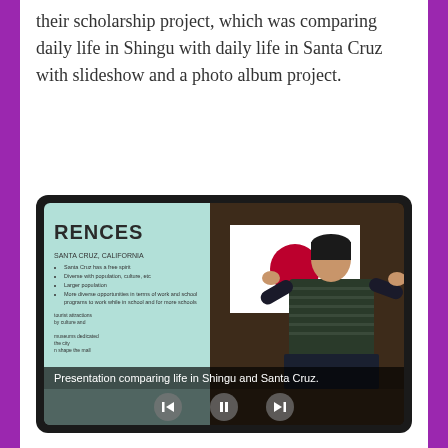their scholarship project, which was comparing daily life in Shingu with daily life in Santa Cruz with slideshow and a photo album project.
[Figure (photo): Video screenshot showing a student presenter standing in front of a Japanese flag, gesturing with her hands. On the left side of the video is a projected slideshow slide partially visible showing text 'RENCES' (likely DIFFERENCES), 'SANTA CRUZ, CALIFORNIA' heading, and bullet points. Video playback controls (back, pause, forward arrows) are visible at the bottom. A caption bar reads 'Presentation comparing life in Shingu and Santa Cruz.']
Presentation comparing life in Shingu and Santa Cruz.